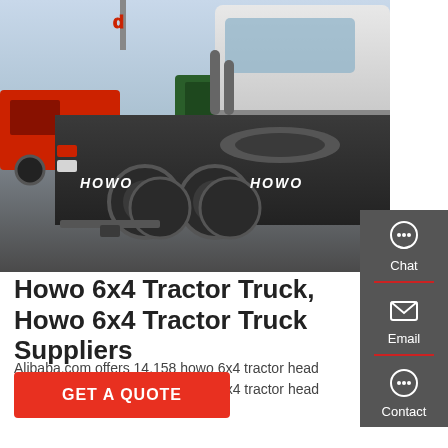[Figure (photo): Rear view of a HOWO 6x4 white tractor truck parked in a lot with other red and green trucks in the background]
Howo 6x4 Tractor Truck, Howo 6x4 Tractor Truck Suppliers
Alibaba.com offers 14,158 howo 6x4 tractor head products. A wide variety of howo 6x4 tractor head options are available to you,
GET A QUOTE